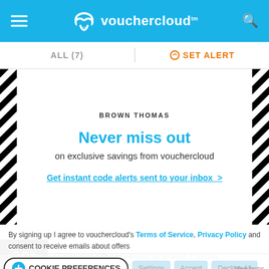vouchercloud
ALL (7)
SET ALERT
BROWN THOMAS
Never miss out
on exclusive savings from vouchercloud
Get instant code alerts sent to your inbox  >
By signing up I agree to vouchercloud's Terms of Service, Privacy Policy and consent to receive emails about offers
☑ Get 20% Off Activewear at Brown Thomas
Online
COOKIE PREFERENCES
Settings  Accept  Decline All
View terms